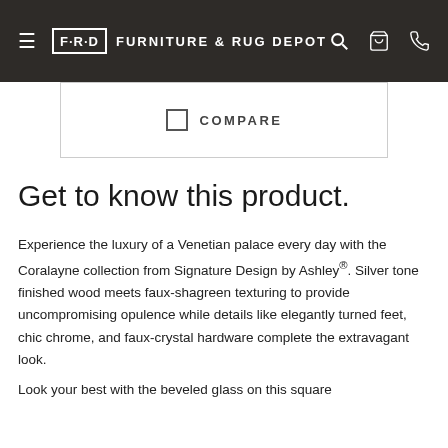FRD FURNITURE & RUG DEPOT
COMPARE
Get to know this product.
Experience the luxury of a Venetian palace every day with the Coralayne collection from Signature Design by Ashley®. Silver tone finished wood meets faux-shagreen texturing to provide uncompromising opulence while details like elegantly turned feet, chic chrome, and faux-crystal hardware complete the extravagant look.
Look your best with the beveled glass on this square